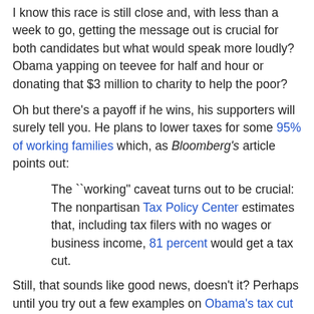I know this race is still close and, with less than a week to go, getting the message out is crucial for both candidates but what would speak more loudly? Obama yapping on teevee for half and hour or donating that $3 million to charity to help the poor?
Oh but there's a payoff if he wins, his supporters will surely tell you. He plans to lower taxes for some 95% of working families which, as Bloomberg's article points out:
The ``working" caveat turns out to be crucial: The nonpartisan Tax Policy Center estimates that, including tax filers with no wages or business income, 81 percent would get a tax cut.
Still, that sounds like good news, doesn't it? Perhaps until you try out a few examples on Obama's tax cut calculator. Let's say you're a single parent with 2 children and your adjusted gross income is $15,000. Your tax savings under Obama's plan would amount to $486.21 which, according to that site, is much more than the $19.68 you'd get under